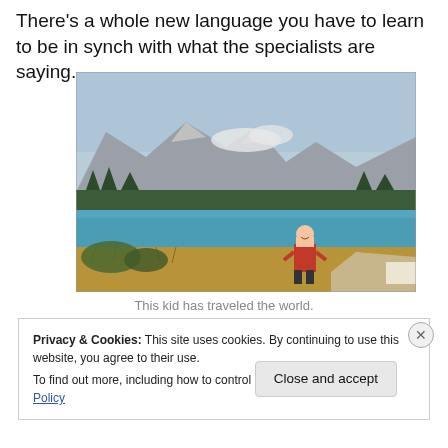There's a whole new language you have to learn to be in synch with what the specialists are saying.
[Figure (photo): A young boy in a red shirt standing in front of a turquoise mountain lake with rugged mountains and pine forests in the background. The landscape appears to be in New Zealand or a similar alpine region.]
This kid has traveled the world.
Privacy & Cookies: This site uses cookies. By continuing to use this website, you agree to their use.
To find out more, including how to control cookies, see here: Cookie Policy